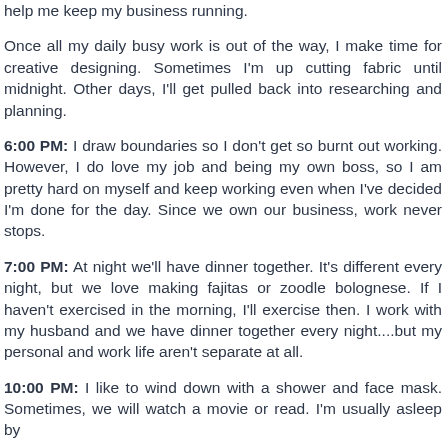help me keep my business running.
Once all my daily busy work is out of the way, I make time for creative designing. Sometimes I'm up cutting fabric until midnight. Other days, I'll get pulled back into researching and planning.
6:00 PM: I draw boundaries so I don't get so burnt out working. However, I do love my job and being my own boss, so I am pretty hard on myself and keep working even when I've decided I'm done for the day. Since we own our business, work never stops.
7:00 PM: At night we'll have dinner together. It's different every night, but we love making fajitas or zoodle bolognese. If I haven't exercised in the morning, I'll exercise then. I work with my husband and we have dinner together every night....but my personal and work life aren't separate at all.
10:00 PM: I like to wind down with a shower and face mask. Sometimes, we will watch a movie or read. I'm usually asleep by